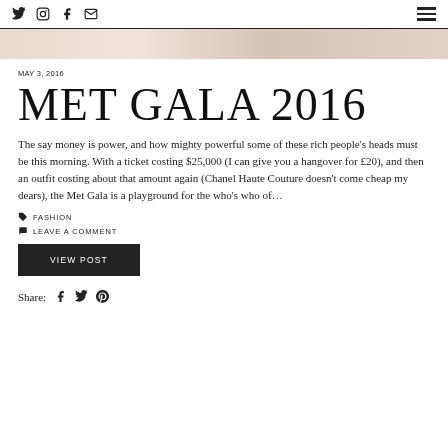Social icons: Twitter, Instagram, Facebook, Email | Hamburger menu
[Figure (photo): Decorative header image with floral/light pink tone]
MAY 3, 2016
MET GALA 2016
The say money is power, and how mighty powerful some of these rich people's heads must be this morning. With a ticket costing $25,000 (I can give you a hangover for £20), and then an outfit costing about that amount again (Chanel Haute Couture doesn't come cheap my dears), the Met Gala is a playground for the who's who of…
FASHION
LEAVE A COMMENT
VIEW POST
Share: